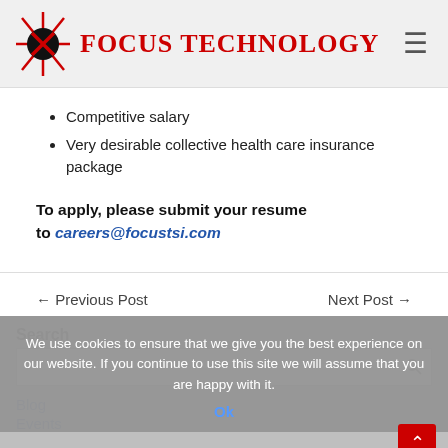Focus Technology
Competitive salary
Very desirable collective health care insurance package
To apply, please submit your resume to careers@focustsi.com
← Previous Post    Next Post →
Search
We use cookies to ensure that we give you the best experience on our website. If you continue to use this site we will assume that you are happy with it.
Ok
Blog
Events